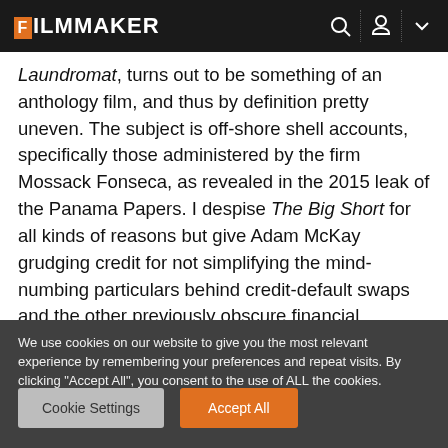FILMMAKER
Laundromat, turns out to be something of an anthology film, and thus by definition pretty uneven. The subject is off-shore shell accounts, specifically those administered by the firm Mossack Fonseca, as revealed in the 2015 leak of the Panama Papers. I despise The Big Short for all kinds of reasons but give Adam McKay grudging credit for not simplifying the mind-numbing particulars behind credit-default swaps and the other previously obscure financial
We use cookies on our website to give you the most relevant experience by remembering your preferences and repeat visits. By clicking "Accept All", you consent to the use of ALL the cookies. However, you may visit "Cookie Settings" to provide a controlled consent.
Cookie Settings | Accept All